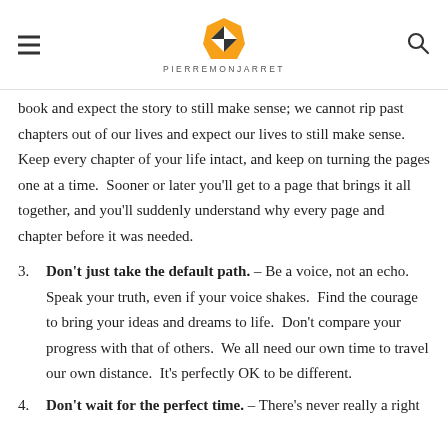PIERREMONJARRET
book and expect the story to still make sense; we cannot rip past chapters out of our lives and expect our lives to still make sense.  Keep every chapter of your life intact, and keep on turning the pages one at a time.  Sooner or later you'll get to a page that brings it all together, and you'll suddenly understand why every page and chapter before it was needed.
3. Don't just take the default path. – Be a voice, not an echo.  Speak your truth, even if your voice shakes.  Find the courage to bring your ideas and dreams to life.  Don't compare your progress with that of others.  We all need our own time to travel our own distance.  It's perfectly OK to be different.
4. Don't wait for the perfect time. – There's never really a right